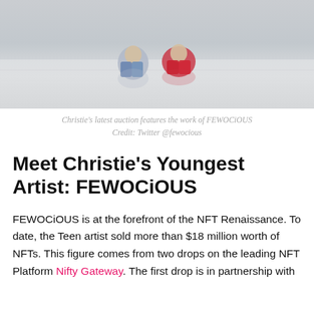[Figure (photo): Two children sitting on a white reflective floor. One wears jeans and a patterned top, the other wears a red outfit. White gallery-like background.]
Christie's latest auction features the work of FEWOCiOUS
Credit: Twitter @fewocious
Meet Christie's Youngest Artist: FEWOCiOUS
FEWOCiOUS is at the forefront of the NFT Renaissance. To date, the Teen artist sold more than $18 million worth of NFTs. This figure comes from two drops on the leading NFT Platform Nifty Gateway. The first drop is in partnership with